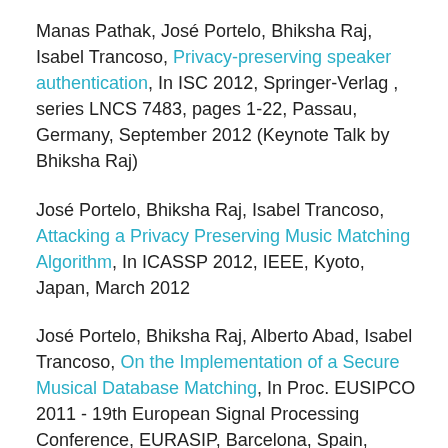Manas Pathak, José Portelo, Bhiksha Raj, Isabel Trancoso, Privacy-preserving speaker authentication, In ISC 2012, Springer-Verlag , series LNCS 7483, pages 1-22, Passau, Germany, September 2012 (Keynote Talk by Bhiksha Raj)
José Portelo, Bhiksha Raj, Isabel Trancoso, Attacking a Privacy Preserving Music Matching Algorithm, In ICASSP 2012, IEEE, Kyoto, Japan, March 2012
José Portelo, Bhiksha Raj, Alberto Abad, Isabel Trancoso, On the Implementation of a Secure Musical Database Matching, In Proc. EUSIPCO 2011 - 19th European Signal Processing Conference, EURASIP, Barcelona, Spain, August 2011(work done prior to official project start)
Seminars